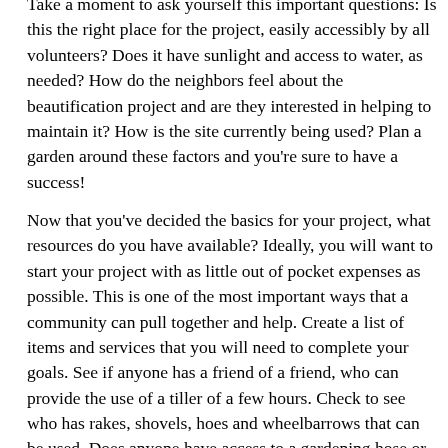Take a moment to ask yourself this important questions: Is this the right place for the project, easily accessibly by all volunteers? Does it have sunlight and access to water, as needed? How do the neighbors feel about the beautification project and are they interested in helping to maintain it? How is the site currently being used? Plan a garden around these factors and you're sure to have a success!
Now that you've decided the basics for your project, what resources do you have available? Ideally, you will want to start your project with as little out of pocket expenses as possible. This is one of the most important ways that a community can pull together and help. Create a list of items and services that you will need to complete your goals. See if anyone has a friend of a friend, who can provide the use of a tiller of a few hours. Check to see who has rakes, shovels, hoes and wheelbarrows that can be used. Does anyone have access to a gardening hose or watering cans? Perhaps some people have some spare seed packets in a drawer, back home. Spare lumber could be used to separate the beds or perhaps someone has some fencing that can help keep pets out of the garden. Draw up a budget for these items but don't